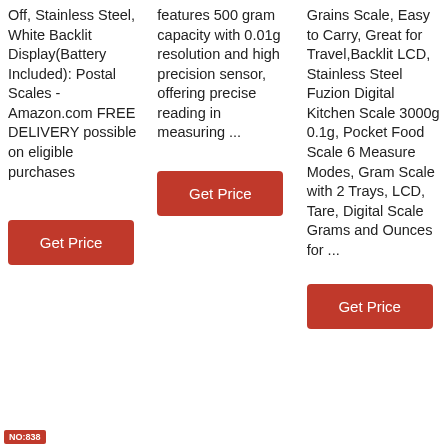Off, Stainless Steel, White Backlit Display(Battery Included): Postal Scales - Amazon.com FREE DELIVERY possible on eligible purchases
Get Price
features 500 gram capacity with 0.01g resolution and high precision sensor, offering precise reading in measuring ...
Get Price
Grains Scale, Easy to Carry, Great for Travel,Backlit LCD, Stainless Steel Fuzion Digital Kitchen Scale 3000g 0.1g, Pocket Food Scale 6 Measure Modes, Gram Scale with 2 Trays, LCD, Tare, Digital Scale Grams and Ounces for ...
Get Price
NO:838